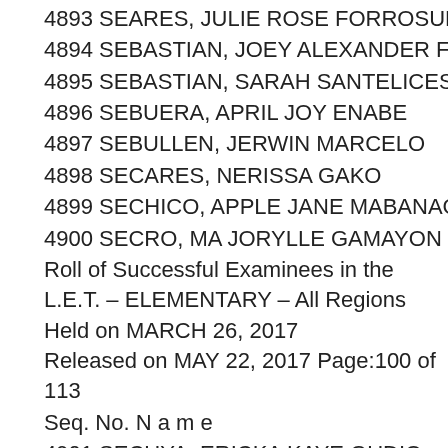4893 SEARES, JULIE ROSE FORROSUELO
4894 SEBASTIAN, JOEY ALEXANDER FERRER
4895 SEBASTIAN, SARAH SANTELICES
4896 SEBUERA, APRIL JOY ENABE
4897 SEBULLEN, JERWIN MARCELO
4898 SECARES, NERISSA GAKO
4899 SECHICO, APPLE JANE MABANAG
4900 SECRO, MA JORYLLE GAMAYON
Roll of Successful Examinees in the L.E.T. – ELEMENTARY – All Regions Held on MARCH 26, 2017 Released on MAY 22, 2017 Page:100 of 113
Seq. No. N a m e
4901 SECUYA, ERICKA KAYE GUDIO
4902 SED, VHALYN BARRION